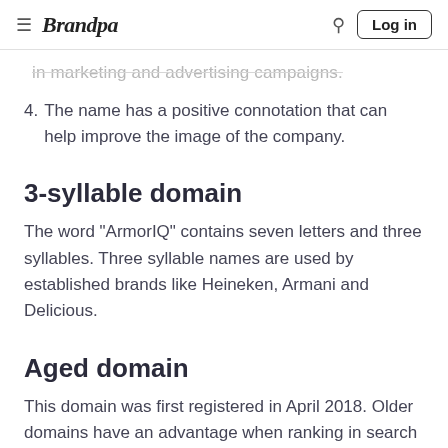Brandpa | Log in
in marketing and advertising campaigns.
4. The name has a positive connotation that can help improve the image of the company.
3-syllable domain
The word "ArmorIQ" contains seven letters and three syllables. Three syllable names are used by established brands like Heineken, Armani and Delicious.
Aged domain
This domain was first registered in April 2018. Older domains have an advantage when ranking in search engines.